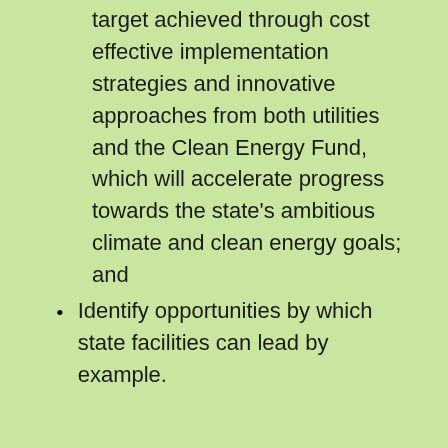target achieved through cost effective implementation strategies and innovative approaches from both utilities and the Clean Energy Fund, which will accelerate progress towards the state's ambitious climate and clean energy goals; and
Identify opportunities by which state facilities can lead by example.
In addition, NYSERDA will propose the establishment of appliance efficiency standards, with support for implementation from the Clean Energy Fund. This strategy is proven to achieve significant energy savings and is a function recently abdicated by the